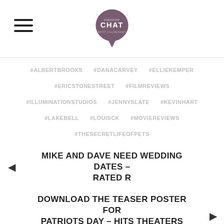Matinee Chat
#ALBERTBROOKS
#DANACARVEY
#ELLIEKEMPER
#ERICSTONESTREET
#FILMREVIEWS
#ILLUMINATIONSTUDIOS
#JENNYSLATE
#KEVINHART
#LAKEBELL
#LOUISCK
#MOVIEREVIEWS
#THESECRETLIFEOFPETS
MIKE AND DAVE NEED WEDDING DATES – RATED R
DOWNLOAD THE TEASER POSTER FOR PATRIOTS DAY – HITS THEATERS NATIONWIDE JANUARY 13, 2017